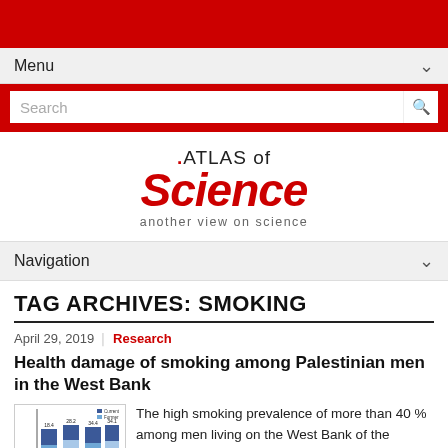Menu
Search
[Figure (logo): Atlas of Science logo with tagline 'another view on science']
Navigation
TAG ARCHIVES: SMOKING
April 29, 2019 | Research
Health damage of smoking among Palestinian men in the West Bank
[Figure (bar-chart): Stacked bar chart showing smoking prevalence data among Palestinian men in the West Bank]
The high smoking prevalence of more than 40 % among men living on the West Bank of the occupied territories is a major challenge for the Palestinian